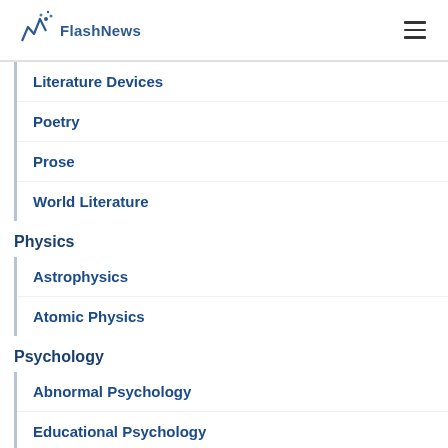FlashNews
Literature Devices
Poetry
Prose
World Literature
Physics
Astrophysics
Atomic Physics
Psychology
Abnormal Psychology
Educational Psychology